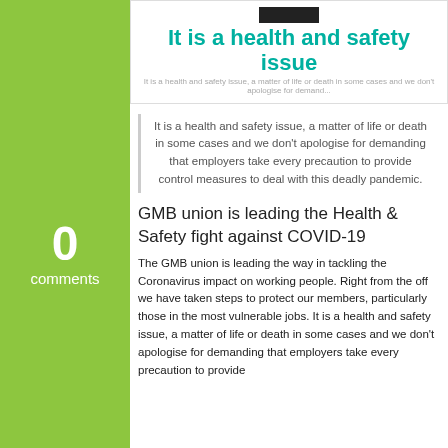[Figure (logo): GMB Northern & Irish logo]
It is a health and safety issue
It is a health and safety issue, a matter of life or death in some cases and we don't apologise for demanding that employers take every precaution to provide control measures to deal with this deadly pandemic.
0
comments
GMB union is leading the Health & Safety fight against COVID-19
The GMB union is leading the way in tackling the Coronavirus impact on working people. Right from the off we have taken steps to protect our members, particularly those in the most vulnerable jobs. It is a health and safety issue, a matter of life or death in some cases and we don't apologise for demanding that employers take every precaution to provide